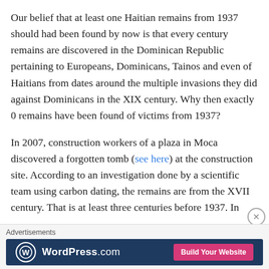Our belief that at least one Haitian remains from 1937 should had been found by now is that every century remains are discovered in the Dominican Republic pertaining to Europeans, Dominicans, Tainos and even of Haitians from dates around the multiple invasions they did against Dominicans in the XIX century. Why then exactly 0 remains have been found of victims from 1937?
In 2007, construction workers of a plaza in Moca discovered a forgotten tomb (see here) at the construction site. According to an investigation done by a scientific team using carbon dating, the remains are from the XVII century. That is at least three centuries before 1937. In
Advertisements
[Figure (other): WordPress.com advertisement banner with dark blue background, WordPress logo, and 'Build Your Website' pink button]